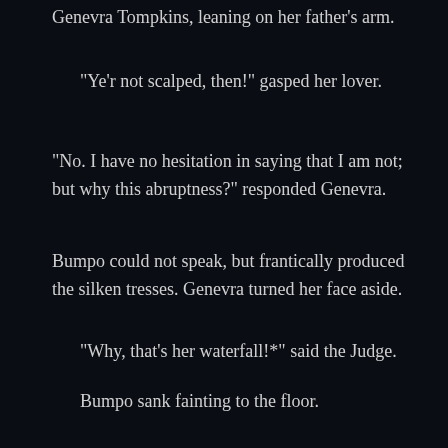Genevra Tompkins, leaning on her father’s arm.
“Ye’r not scalped, then!” gasped her lover.
“No. I have no hesitation in saying that I am not; but why this abruptness?” responded Genevra.
Bumpo could not speak, but frantically produced the silken tresses. Genevra turned her face aside.
“Why, that’s her waterfall!*” said the Judge.
Bumpo sank fainting to the floor.
The famous Pike chieftain never recovered from